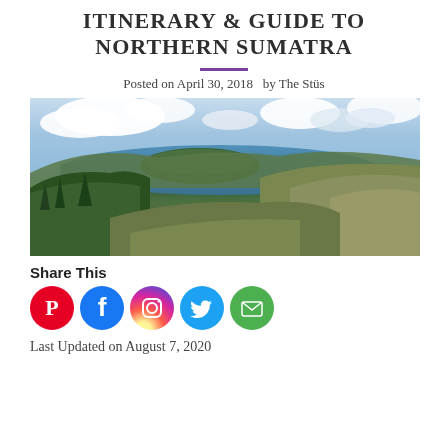ITINERARY & GUIDE TO NORTHERN SUMATRA
Posted on April 30, 2018   by The Stüs
[Figure (photo): Panoramic landscape view of Lake Toba in Northern Sumatra, showing forested hills, a large lake with an island, and cloudy sky]
Share This
[Figure (infographic): Social share icons: Pinterest (red), Facebook (blue), Instagram (gradient), Twitter (light blue), Email (green)]
Last Updated on August 7, 2020